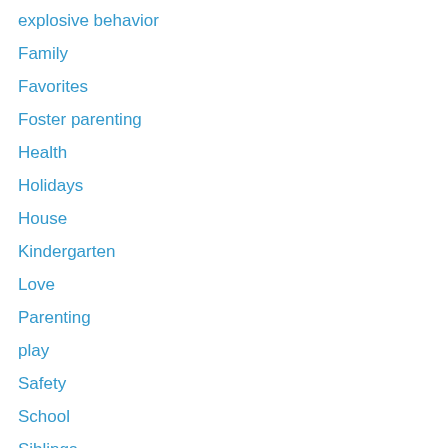explosive behavior
Family
Favorites
Foster parenting
Health
Holidays
House
Kindergarten
Love
Parenting
play
Safety
School
Siblings
Single parent
Sports
Stress
summer
Travel
Uncategorized